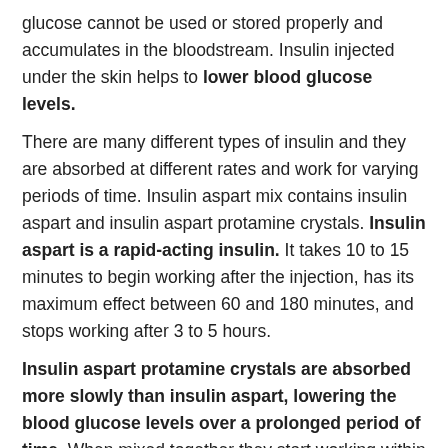glucose cannot be used or stored properly and accumulates in the bloodstream. Insulin injected under the skin helps to lower blood glucose levels.
There are many different types of insulin and they are absorbed at different rates and work for varying periods of time. Insulin aspart mix contains insulin aspart and insulin aspart protamine crystals. Insulin aspart is a rapid-acting insulin. It takes 10 to 15 minutes to begin working after the injection, has its maximum effect between 60 and 180 minutes, and stops working after 3 to 5 hours.
Insulin aspart protamine crystals are absorbed more slowly than insulin aspart, lowering the blood glucose levels over a prolonged period of time. When mixed together they start working within 10 to 20 minutes following injection, reach a maximum effect between 1 to 4 hours after injection and lasts up to 24 hours.